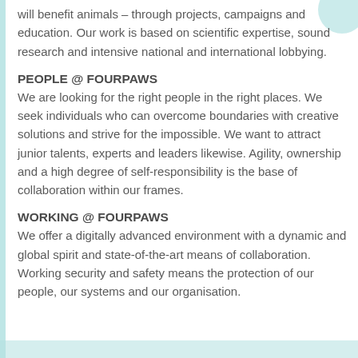will benefit animals – through projects, campaigns and education. Our work is based on scientific expertise, sound research and intensive national and international lobbying.
PEOPLE @ FOURPAWS
We are looking for the right people in the right places. We seek individuals who can overcome boundaries with creative solutions and strive for the impossible. We want to attract junior talents, experts and leaders likewise. Agility, ownership and a high degree of self-responsibility is the base of collaboration within our frames.
WORKING @ FOURPAWS
We offer a digitally advanced environment with a dynamic and global spirit and state-of-the-art means of collaboration. Working security and safety means the protection of our people, our systems and our organisation.